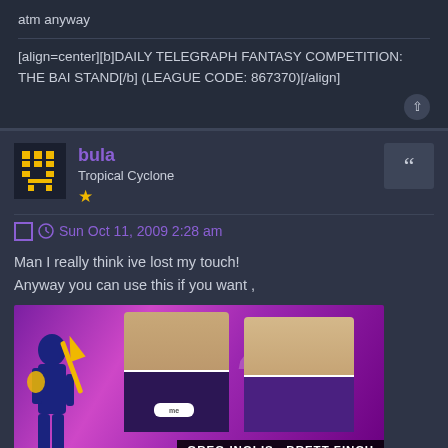atm anyway
[align=center][b]DAILY TELEGRAPH FANTASY COMPETITION: THE BAI STAND[/b] (LEAGUE CODE: 867370)[/align]
bula
Tropical Cyclone
★
Sun Oct 11, 2009 2:28 am
Man I really think ive lost my touch!
Anyway you can use this if you want ,
[Figure (photo): Sports promotional image showing two rugby league players in purple Melbourne Storm jerseys. Number 46 visible in background. Text at bottom reads 'GREG INGLIS  BRETT FINCH'. Logo and branding visible. Purple/pink background with crowd silhouettes.]